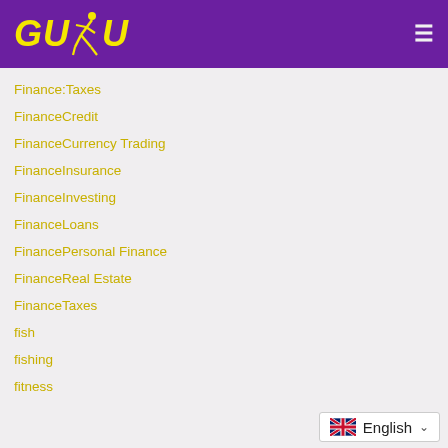[Figure (logo): GUDU logo with runner figure in yellow on purple background, with hamburger menu icon on right]
Finance:Taxes
FinanceCredit
FinanceCurrency Trading
FinanceInsurance
FinanceInvesting
FinanceLoans
FinancePersonal Finance
FinanceReal Estate
FinanceTaxes
fish
fishing
fitness
English